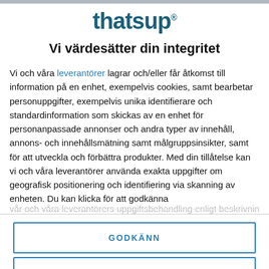[Figure (logo): thatsup logo in dark teal bold text with registered trademark symbol]
Vi värdesätter din integritet
Vi och våra leverantörer lagrar och/eller får åtkomst till information på en enhet, exempelvis cookies, samt bearbetar personuppgifter, exempelvis unika identifierare och standardinformation som skickas av en enhet för personanpassade annonser och andra typer av innehåll, annons- och innehållsmätning samt målgruppsinsikter, samt för att utveckla och förbättra produkter. Med din tillåtelse kan vi och våra leverantörer använda exakta uppgifter om geografisk positionering och identifiering via skanning av enheten. Du kan klicka för att godkänna vår och våra leverantörers uppgiftsbehandling enligt beskrivningen
GODKÄNN
FLER ALTERNATIV
deem necessary to confirm your identity before